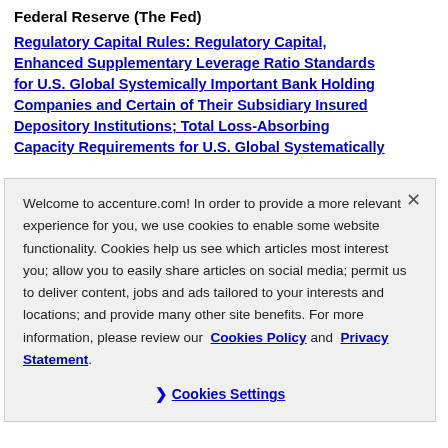Federal Reserve (The Fed)
Regulatory Capital Rules: Regulatory Capital, Enhanced Supplementary Leverage Ratio Standards for U.S. Global Systemically Important Bank Holding Companies and Certain of Their Subsidiary Insured Depository Institutions; Total Loss-Absorbing Capacity Requirements for U.S. Global Systematically
Welcome to accenture.com! In order to provide a more relevant experience for you, we use cookies to enable some website functionality. Cookies help us see which articles most interest you; allow you to easily share articles on social media; permit us to deliver content, jobs and ads tailored to your interests and locations; and provide many other site benefits. For more information, please review our Cookies Policy and Privacy Statement.
Cookies Settings